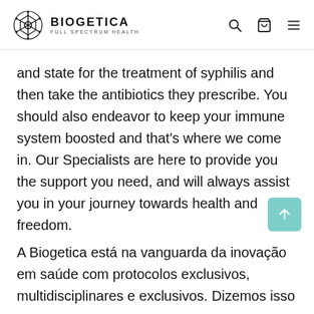BIOGETICA FULL SPECTRUM HEALTH
and state for the treatment of syphilis and then take the antibiotics they prescribe. You should also endeavor to keep your immune system boosted and that’s where we come in. Our Specialists are here to provide you the support you need, and will always assist you in your journey towards health and freedom.
A Biogetica está na vanguarda da inovação em saúde com protocolos exclusivos, multidisciplinares e exclusivos. Dizemos isso